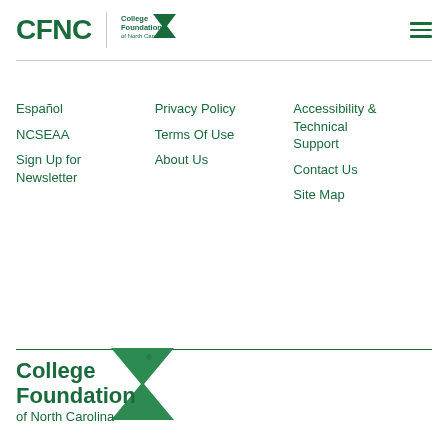[Figure (logo): CFNC College Foundation of North Carolina logo with hamburger menu icon in header]
Español
NCSEAA
Sign Up for Newsletter
Privacy Policy
Terms Of Use
About Us
Accessibility & Technical Support
Contact Us
Site Map
[Figure (logo): College Foundation of North Carolina logo with green arrow and text]